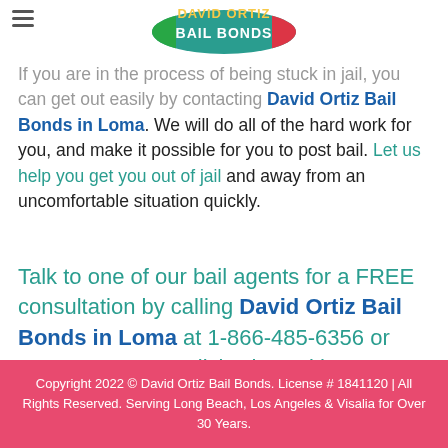[Figure (logo): David Ortiz Bail Bonds logo — colorful text with teal oval and Italian flag colors]
If you are in the process of being stuck in jail, you can get out easily by contacting David Ortiz Bail Bonds in Loma. We will do all of the hard work for you, and make it possible for you to post bail. Let us help you get you out of jail and away from an uncomfortable situation quickly.
Talk to one of our bail agents for a FREE consultation by calling David Ortiz Bail Bonds in Loma at 1-866-485-6356 or 661-326-0608 or click Chat With Us now.
Copyright 2022 © David Ortiz Bail Bonds. License # 1841120 | All Rights Reserved. Serving Long Beach, Los Angeles & Visalia for Over 30 Years.